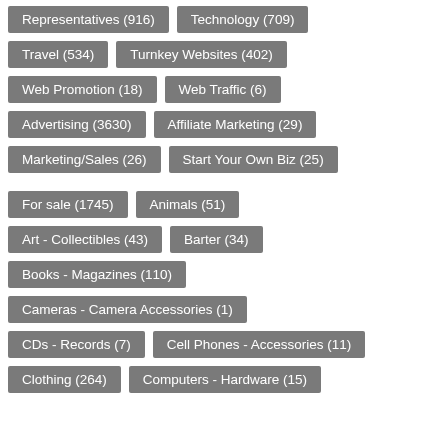Representatives (916)
Technology (709)
Travel (534)
Turnkey Websites (402)
Web Promotion (18)
Web Traffic (6)
Advertising (3630)
Affiliate Marketing (29)
Marketing/Sales (26)
Start Your Own Biz (25)
For sale (1745)
Animals (51)
Art - Collectibles (43)
Barter (34)
Books - Magazines (110)
Cameras - Camera Accessories (1)
CDs - Records (7)
Cell Phones - Accessories (11)
Clothing (264)
Computers - Hardware (15)